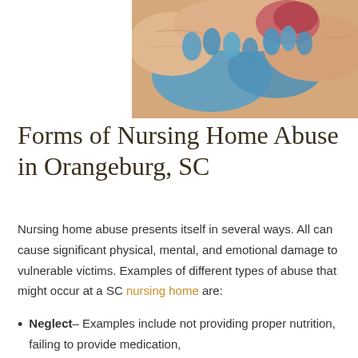[Figure (photo): Close-up photo of an elderly person's hand with what appears to be a wound or bruise, being examined by gloved medical hands]
Forms of Nursing Home Abuse in Orangeburg, SC
Nursing home abuse presents itself in several ways. All can cause significant physical, mental, and emotional damage to vulnerable victims. Examples of different types of abuse that might occur at a SC nursing home are:
Neglect– Examples include not providing proper nutrition, failing to provide medication,